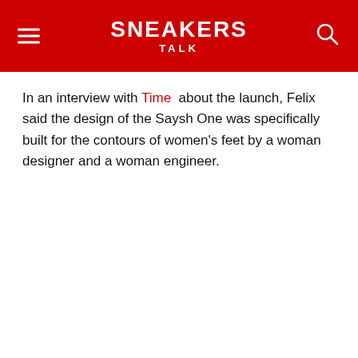SNEAKERS TALK
In an interview with Time about the launch, Felix said the design of the Saysh One was specifically built for the contours of women's feet by a woman designer and a woman engineer.